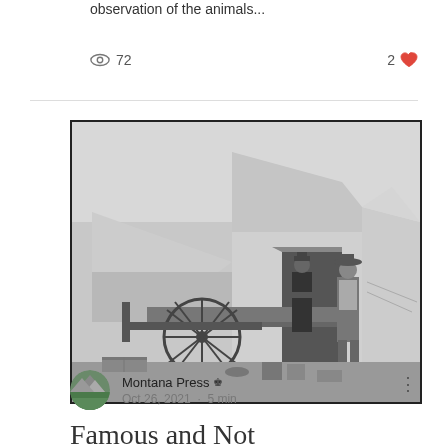observation of the animals...
72 views · 2 likes
[Figure (photo): Black and white historical photograph of two men standing outside large canvas tents with a wagon wheel visible in the foreground and various supplies on the ground]
Montana Press · Oct 26, 2021 · 5 min
Famous and Not